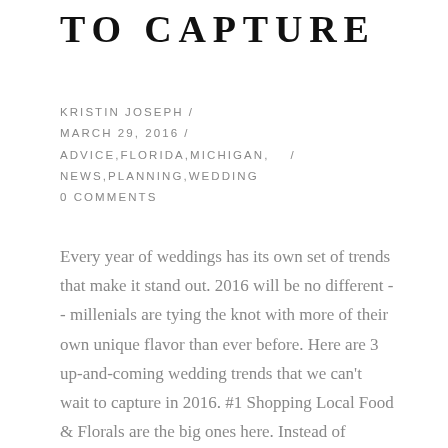TO CAPTURE
KRISTIN JOSEPH / MARCH 29, 2016 / ADVICE,FLORIDA,MICHIGAN, / NEWS,PLANNING,WEDDING 0 COMMENTS
Every year of weddings has its own set of trends that make it stand out. 2016 will be no different -- millenials are tying the knot with more of their own unique flavor than ever before. Here are 3 up-and-coming wedding trends that we can't wait to capture in 2016. #1 Shopping Local Food & Florals are the big ones here. Instead of having flowers